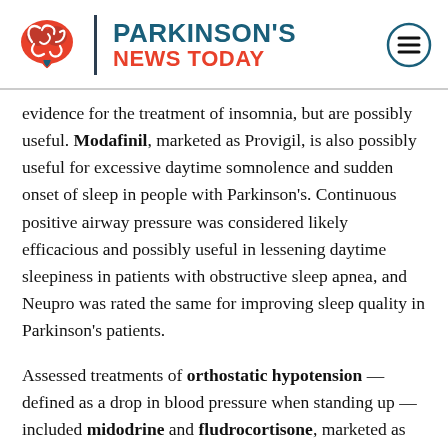PARKINSON'S NEWS TODAY
evidence for the treatment of insomnia, but are possibly useful. Modafinil, marketed as Provigil, is also possibly useful for excessive daytime somnolence and sudden onset of sleep in people with Parkinson's. Continuous positive airway pressure was considered likely efficacious and possibly useful in lessening daytime sleepiness in patients with obstructive sleep apnea, and Neupro was rated the same for improving sleep quality in Parkinson's patients.
Assessed treatments of orthostatic hypotension — defined as a drop in blood pressure when standing up — included midodrine and fludrocortisone, marketed as Florinef. Although both have insufficient efficacy evidence, they are classified as possibly useful in the clinic due to benefits seen in